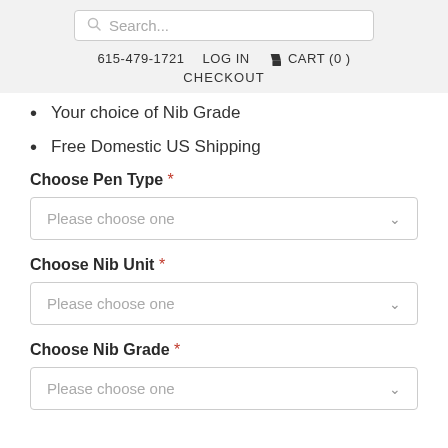Search... 615-479-1721 LOG IN CART (0) CHECKOUT
Your choice of Nib Grade
Free Domestic US Shipping
Choose Pen Type *
Please choose one
Choose Nib Unit *
Please choose one
Choose Nib Grade *
Please choose one